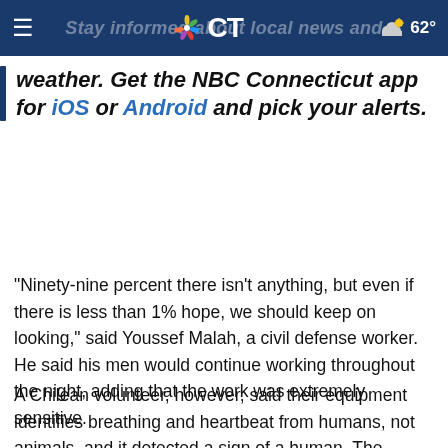Stay informed about local news and weather. Get the NBC Connecticut app for iOS or Android and pick your alerts.
“Ninety-nine percent there isn’t anything, but even if there is less than 1% hope, we should keep on looking,” said Youssef Malah, a civil defense worker. He said his men would continue working throughout the night, adding that the work was extremely sensitive.
A Chilean volunteer, however, said their equipment identifies breathing and heartbeat from humans, not animals, and it detected a sign of a human. The worker who identified himself as Francesco Lermonda said it is rare, but not unheard of, for someone to survive under the rubble for a